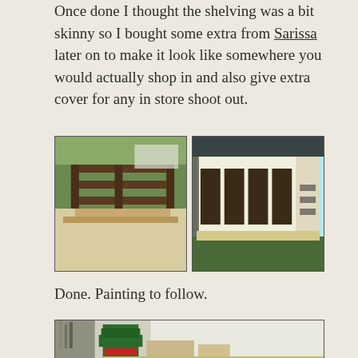Once done I thought the shelving was a bit skinny so I bought some extra from Sarissa later on to make it look like somewhere you would actually shop in and also give extra cover for any in store shoot out.
[Figure (photo): Two photos side by side: left shows wooden MDF laser-cut shelving unit pieces assembled on a green cutting mat; right shows a painted/assembled shop building model with white panels and dark window frames on a green cutting mat.]
Done. Painting to follow.
[Figure (photo): Photo showing painting supplies including a green bottle/can and other items on a table, bottom portion visible.]